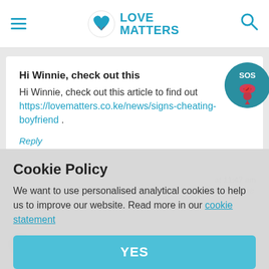Love Matters
Hi Winnie, check out this
Hi Winnie, check out this article to find out https://lovematters.co.ke/news/signs-cheating-boyfriend .
Reply
Cookie Policy
We want to use personalised analytical cookies to help us to improve our website. Read more in our cookie statement
YES